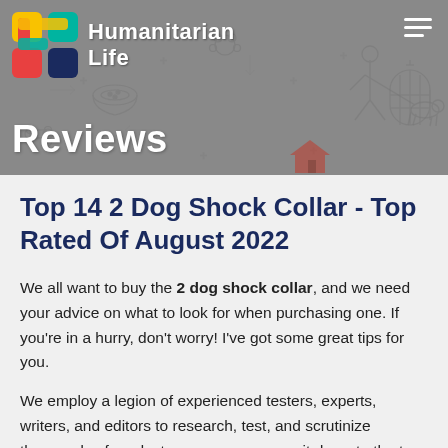[Figure (screenshot): Website header banner for 'Humanitarian Life' with colorful logo and pet-themed decorative pattern background in grey. Includes hamburger menu icon top right and 'Reviews' text bottom left.]
Top 14 2 Dog Shock Collar - Top Rated Of August 2022
We all want to buy the 2 dog shock collar, and we need your advice on what to look for when purchasing one. If you're in a hurry, don't worry! I've got some great tips for you.
We employ a legion of experienced testers, experts, writers, and editors to research, test, and scrutinize thousands of products so we can narrow it down to the top 2 dog shock collar with popular brands below: